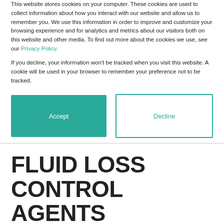This website stores cookies on your computer. These cookies are used to collect information about how you interact with our website and allow us to remember you. We use this information in order to improve and customize your browsing experience and for analytics and metrics about our visitors both on this website and other media. To find out more about the cookies we use, see our Privacy Policy.
If you decline, your information won’t be tracked when you visit this website. A cookie will be used in your browser to remember your preference not to be tracked.
Accept | Decline
FLUID LOSS CONTROL AGENTS
Borregaard’s BioDrill® FM range are high-temperature stable and contaminant tolerant filtration control